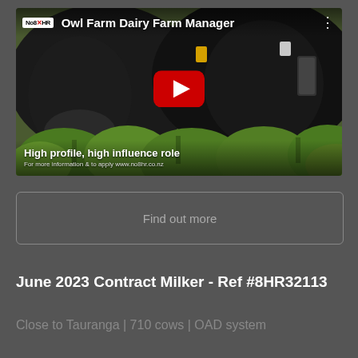[Figure (screenshot): YouTube video thumbnail showing black cows in a green leafy field. Top bar shows No8HR logo and title 'Owl Farm Dairy Farm Manager' with three-dot menu. Center has a red YouTube play button. Bottom overlay reads 'High profile, high influence role' and 'For more information & to apply www.no8hr.co.nz'.]
Find out more
June 2023 Contract Milker - Ref #8HR32113
Close to Tauranga | 710 cows | OAD system